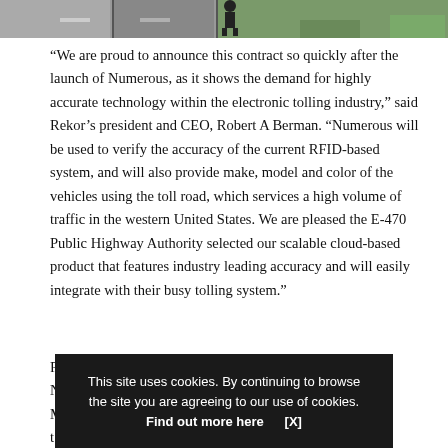[Figure (photo): Partial view of a road/highway scene with a figure, used as a photo strip at the top of the page.]
“We are proud to announce this contract so quickly after the launch of Numerous, as it shows the demand for highly accurate technology within the electronic tolling industry,” said Rekor’s president and CEO, Robert A Berman. “Numerous will be used to verify the accuracy of the current RFID-based system, and will also provide make, model and color of the vehicles using the toll road, which services a high volume of traffic in the western United States. We are pleased the E-470 Public Highway Authority selected our scalable cloud-based product that features industry leading accuracy and will easily integrate with their busy tolling system.”
Rekor has also announced that it has been selected by a Northern California law enforcement agency to deploy its Mobile LPR mounted to vehicle informat
This site uses cookies. By continuing to browse the site you are agreeing to our use of cookies. Find out more here    [X]